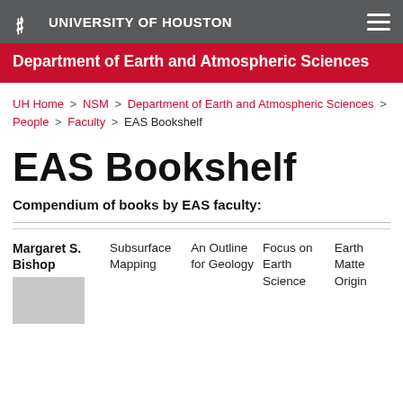UNIVERSITY OF HOUSTON
Department of Earth and Atmospheric Sciences
UH Home > NSM > Department of Earth and Atmospheric Sciences > People > Faculty > EAS Bookshelf
EAS Bookshelf
Compendium of books by EAS faculty:
| Faculty | Book 1 | Book 2 | Book 3 | Book 4 |
| --- | --- | --- | --- | --- |
| Margaret S. Bishop | Subsurface Mapping | An Outline for Geology | Focus on Earth Science | Earth Matter Origin |